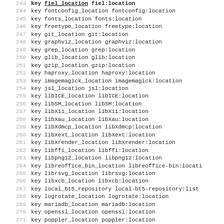243   key fiel_location fiel:location
244   key fontconfig_location fontconfig:location
245   key fonts_location fonts:location
246   key freetype_location freetype:location
247   key git_location git:location
248   key graphviz_location graphviz:location
249   key grep_location grep:location
250   key glib_location glib:location
251   key gzip_location gzip:location
252   key haproxy_location haproxy:location
253   key imagemagick_location imagemagick:location
254   key jsl_location jsl:location
255   key libICE_location libICE:location
256   key libSM_location libSM:location
257   key libX11_location libX11:location
258   key libXau_location libXau:location
259   key libXdmcp_location libXdmcp:location
260   key libXext_location libXext:location
261   key libXrender_location libXrender:location
262   key libffi_location libffi:location
263   key libpng12_location libpng12:location
264   key libreoffice_bin_location libreoffice-bin:locati
265   key librsvg_location librsvg:location
266   key libxcb_location libxcb:location
267   key local_bt5_repository local-bt5-repository:list
268   key logrotate_location logrotate:location
269   key mariadb_location mariadb:location
270   key openssl_location openssl:location
271   key poppler_location poppler:location
272   key sed_location sed:location
273   key stunnel_location stunnel:location
274   key template_cloudooo template-cloudooo:target
275   key template_erp5_single template-erp5-single:targe